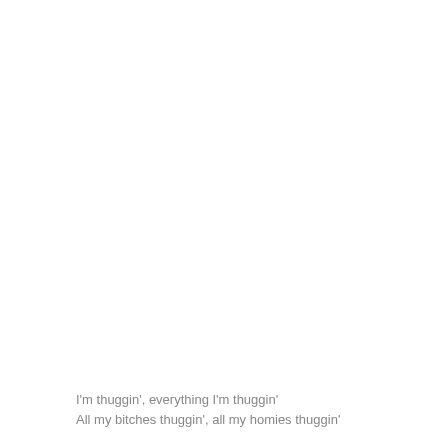I'm thuggin', everything I'm thuggin'
All my bitches thuggin', all my homies thuggin'